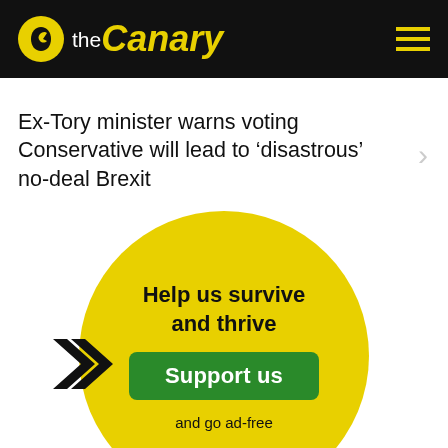the Canary
Ex-Tory minister warns voting Conservative will lead to ‘disastrous’ no-deal Brexit
[Figure (infographic): Yellow circle with double chevron arrows on left, text 'Help us survive and thrive', green 'Support us' button, and text 'and go ad-free']